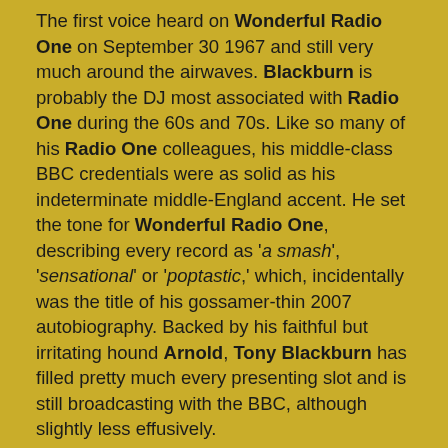The first voice heard on Wonderful Radio One on September 30 1967 and still very much around the airwaves. Blackburn is probably the DJ most associated with Radio One during the 60s and 70s. Like so many of his Radio One colleagues, his middle-class BBC credentials were as solid as his indeterminate middle-England accent. He set the tone for Wonderful Radio One, describing every record as 'a smash', 'sensational' or 'poptastic,' which, incidentally was the title of his gossamer-thin 2007 autobiography. Backed by his faithful but irritating hound Arnold, Tony Blackburn has filled pretty much every presenting slot and is still broadcasting with the BBC, although slightly less effusively.